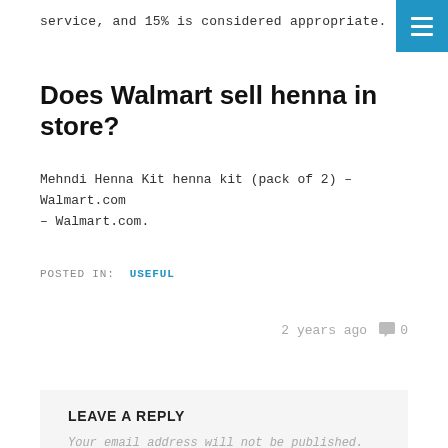service, and 15% is considered appropriate.
Does Walmart sell henna in store?
Mehndi Henna Kit henna kit (pack of 2) – Walmart.com – Walmart.com.
POSTED IN: USEFUL
2 years ago  0
LEAVE A REPLY
Your email address will not be published. Required fields are marked *